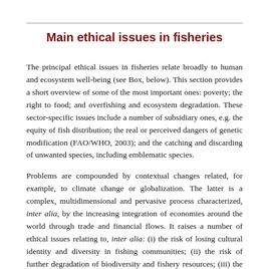Main ethical issues in fisheries
The principal ethical issues in fisheries relate broadly to human and ecosystem well-being (see Box, below). This section provides a short overview of some of the most important ones: poverty; the right to food; and overfishing and ecosystem degradation. These sector-specific issues include a number of subsidiary ones, e.g. the equity of fish distribution; the real or perceived dangers of genetic modification (FAO/WHO, 2003); and the catching and discarding of unwanted species, including emblematic species.
Problems are compounded by contextual changes related, for example, to climate change or globalization. The latter is a complex, multidimensional and pervasive process characterized, inter alia, by the increasing integration of economies around the world through trade and financial flows. It raises a number of ethical issues relating to, inter alia: (i) the risk of losing cultural identity and diversity in fishing communities; (ii) the risk of further degradation of biodiversity and fishery resources; (iii) the difficulty of trying to satisfy a broader range of stakeholders explicitly; and (iv)